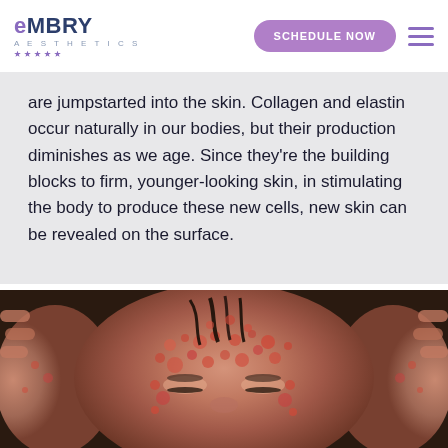eMBRY AESTHETICS — SCHEDULE NOW
are jumpstarted into the skin. Collagen and elastin occur naturally in our bodies, but their production diminishes as we age. Since they're the building blocks to firm, younger-looking skin, in stimulating the body to produce these new cells, new skin can be revealed on the surface.
[Figure (photo): Close-up photo of a woman lying down with a reddish exfoliating face mask or skin treatment applied to her face and hands visible on either side]